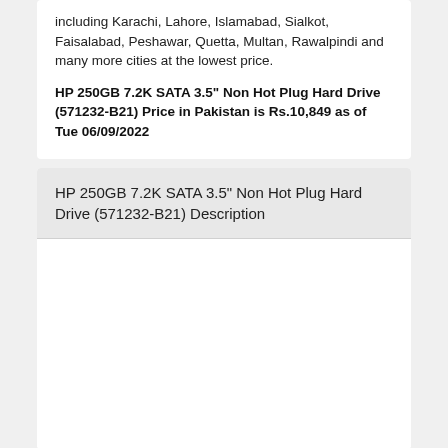including Karachi, Lahore, Islamabad, Sialkot, Faisalabad, Peshawar, Quetta, Multan, Rawalpindi and many more cities at the lowest price.
HP 250GB 7.2K SATA 3.5" Non Hot Plug Hard Drive (571232-B21) Price in Pakistan is Rs.10,849 as of Tue 06/09/2022
HP 250GB 7.2K SATA 3.5" Non Hot Plug Hard Drive (571232-B21) Description